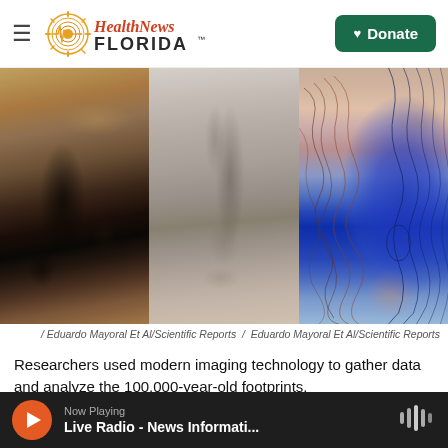Health News Florida — Donate
[Figure (photo): Three-panel image: left panel shows rocky brownish footprint site photo, middle panel shows sandy gray close-up of footprint impression, right panel shows topographic/elevation map overlay of footprint area in blue and orange/red contour colors. Credits: Eduardo Mayoral Et Al/Scientific Reports]
/ Eduardo Mayoral Et Al/Scientific Reports  /  Eduardo Mayoral Et Al/Scientific Reports
Researchers used modern imaging technology to gather data and analyze the 100,000-year-old footprints.
Now Playing  Live Radio - News Informati...